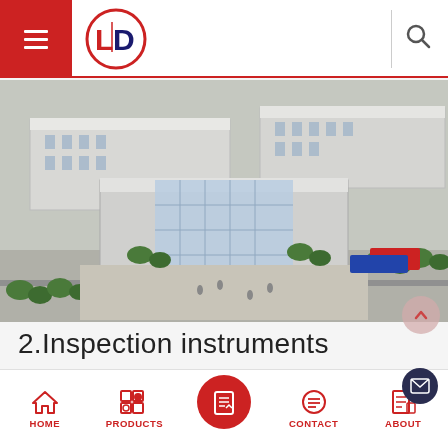[Figure (logo): LD company logo — red circle with L and D letters, hamburger menu icon on red background, search icon]
[Figure (photo): Aerial perspective rendering of an industrial or manufacturing campus with multiple large grey-roofed buildings, parking areas, roads with trees, and a central plaza with a glass-facade main building]
2.Inspection instruments
[Figure (infographic): Mobile app bottom navigation bar with HOME, PRODUCTS (active center red circle), CONTACT, ABOUT icons in red, plus a dark mail/envelope floating button]